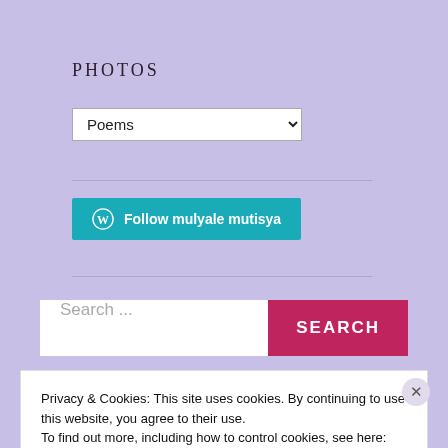PHOTOS
[Figure (screenshot): Dropdown selector showing 'Poems' with a down arrow]
[Figure (screenshot): Teal 'Follow mulyale mutisya' button with WordPress icon]
[Figure (screenshot): Search bar with placeholder 'Search ...' and a crimson SEARCH button]
Privacy & Cookies: This site uses cookies. By continuing to use this website, you agree to their use.
To find out more, including how to control cookies, see here: Cookie Policy
Close and accept